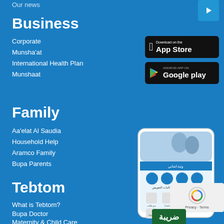Our news
Business
Corporate
Munsha'at
International Health Plan
Munshaat
[Figure (logo): Download on the App Store badge]
[Figure (logo): Android App on Google Play badge]
Family
Aa'elat Al Saudia
Household Help
Aramco Family
Bupa Parents
[Figure (screenshot): Mobile app screenshot showing a healthcare app with Arabic interface, featuring a couple and app navigation icons]
Tebtom
What is Tebtom?
Bupa Doctor
Maternity & Child Care
Chronic Care